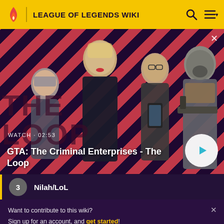LEAGUE OF LEGENDS WIKI
[Figure (screenshot): Video thumbnail showing GTA: The Criminal Enterprises - The Loop with four characters on a diagonal red and dark striped background. Shows WATCH · 02:53 label and a play button.]
WATCH · 02:53
GTA: The Criminal Enterprises - The Loop
3  Nilah/LoL
Want to contribute to this wiki? Sign up for an account, and get started! You can even turn off ads in your preferences.